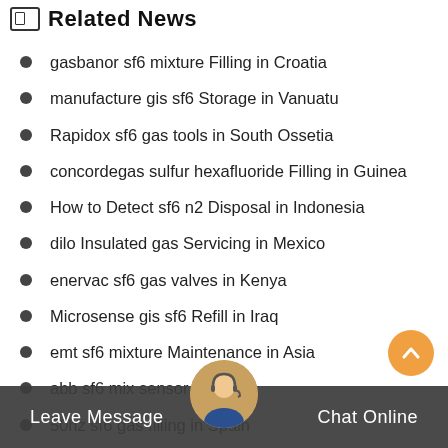Related News
gasbanor sf6 mixture Filling in Croatia
manufacture gis sf6 Storage in Vanuatu
Rapidox sf6 gas tools in South Ossetia
concordegas sulfur hexafluoride Filling in Guinea
How to Detect sf6 n2 Disposal in Indonesia
dilo Insulated gas Servicing in Mexico
enervac sf6 gas valves in Kenya
Microsense gis sf6 Refill in Iraq
emt sf6 mixture Maintenance in Asia
abb sf6 mix sensor
50hz sf6 gas filling in Spain
Advantages of sf6 mix Refill in Caledonia
order sf6 gas emissions in Venezuela
Leave Message    Chat Online